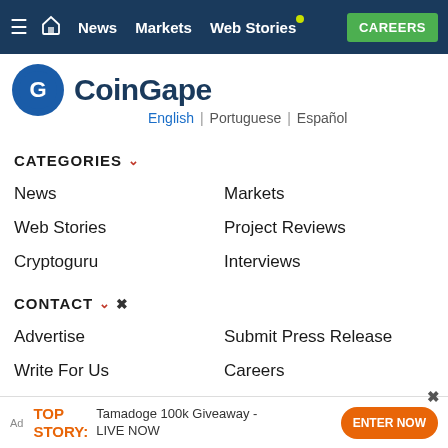News | Markets | Web Stories | CAREERS
[Figure (logo): CoinGape logo — blue circle with G icon and CoinGape wordmark]
English | Portuguese | Español
CATEGORIES
News
Markets
Web Stories
Project Reviews
Cryptoguru
Interviews
CONTACT
Advertise
Submit Press Release
Write For Us
Careers
COMPANY
About Us
Privacy Policy
[Figure (illustration): Nexo popup ad — circular blue badge with Nexo logo and 'Buy Crypto in Seconds' text]
Ad TOP STORY: Tamadoge 100k Giveaway - LIVE NOW ENTER NOW